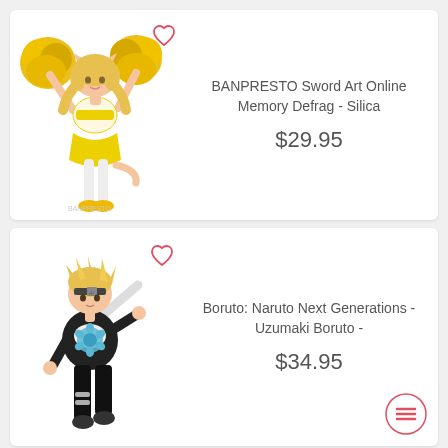[Figure (photo): BANPRESTO Sword Art Online Memory Defrag - Silica anime figure in cheerleader outfit with yellow pom-poms, cat ears, white and yellow costume]
BANPRESTO Sword Art Online Memory Defrag - Silica
$29.95
[Figure (photo): Boruto: Naruto Next Generations - Uzumaki Boruto anime figure in action pose, black outfit with blue floral detail]
Boruto: Naruto Next Generations - Uzumaki Boruto -
$34.95